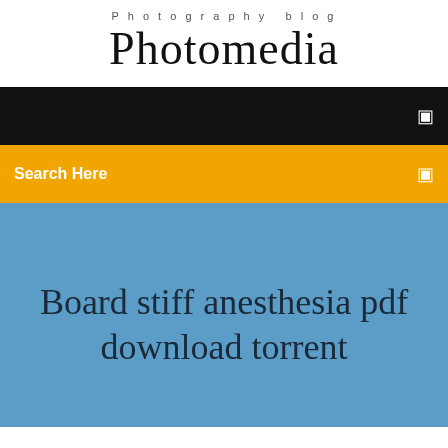Photography blog
Photomedia
[Figure (screenshot): Black navigation bar with a white menu icon on the right]
Search Here
Board stiff anesthesia pdf download torrent